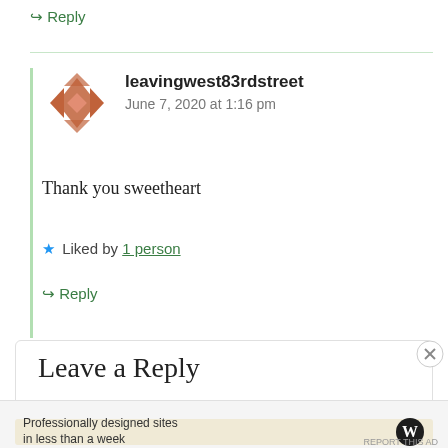↳ Reply
[Figure (illustration): User avatar for leavingwest83rdstreet - geometric diamond/cross pattern in brown/rust colors]
leavingwest83rdstreet
June 7, 2020 at 1:16 pm
Thank you sweetheart
★ Liked by 1 person
↳ Reply
Leave a Reply
Advertisements
Professionally designed sites in less than a week